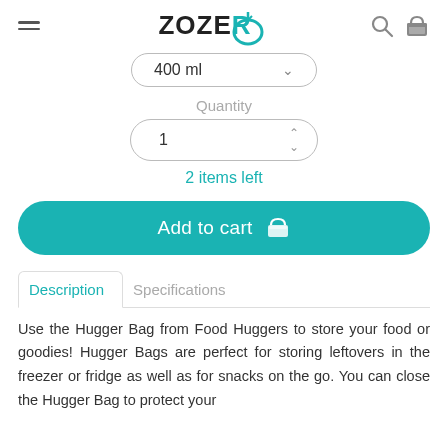ZOZERO
400 ml
Quantity
1
2 items left
Add to cart
Description	Specifications
Use the Hugger Bag from Food Huggers to store your food or goodies! Hugger Bags are perfect for storing leftovers in the freezer or fridge as well as for snacks on the go. You can close the Hugger Bag to protect your